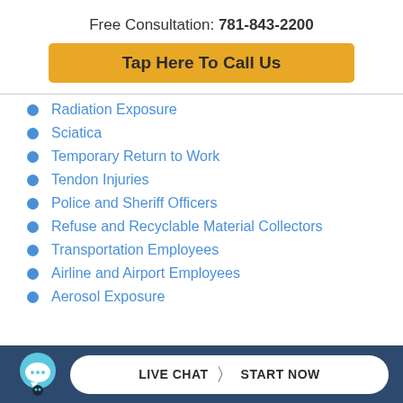Free Consultation: 781-843-2200
Tap Here To Call Us
Radiation Exposure
Sciatica
Temporary Return to Work
Tendon Injuries
Police and Sheriff Officers
Refuse and Recyclable Material Collectors
Transportation Employees
Airline and Airport Employees
Aerosol Exposure
LIVE CHAT  START NOW